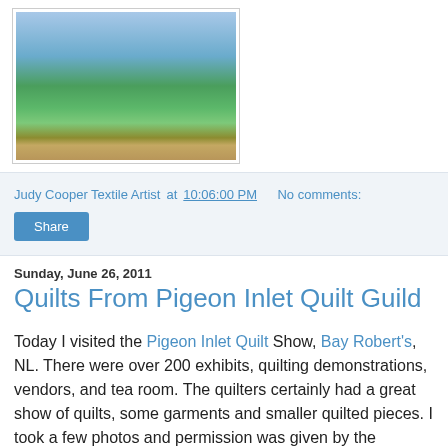[Figure (photo): A framed landscape quilt showing a scenic view with water, sky, houses, and green meadows, displayed inside a dark red/brown quilted border frame]
Judy Cooper Textile Artist at 10:06:00 PM    No comments:
Share
Sunday, June 26, 2011
Quilts From Pigeon Inlet Quilt Guild
Today I visited the Pigeon Inlet Quilt Show, Bay Robert's, NL. There were over 200 exhibits, quilting demonstrations, vendors, and tea room. The quilters certainly had a great show of quilts, some garments and smaller quilted pieces. I took a few photos and permission was given by the individual quilters to show some of them here. I will post